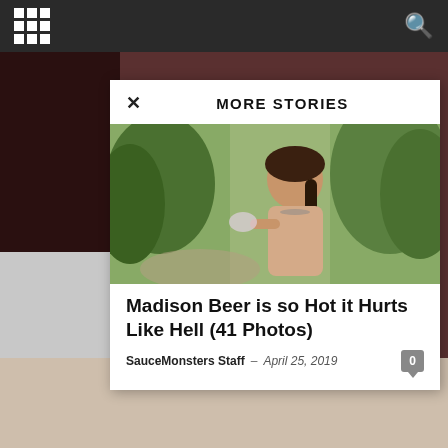MORE STORIES
[Figure (photo): Young woman with braided hair holding sunglasses outdoors with trees in background]
Madison Beer is so Hot it Hurts Like Hell (41 Photos)
SauceMonsters Staff – April 25, 2019
[Figure (photo): Partial view of a person in light-colored clothing at the bottom of the page]